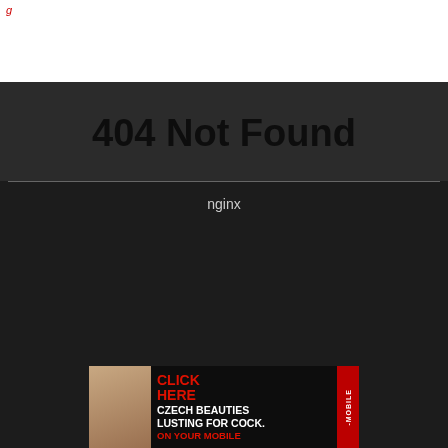404 Not Found
nginx
[Figure (photo): Adult advertisement banner showing text: CLICK HERE / CZECH BEAUTIES LUSTING FOR COCK. / ON YOUR MOBILE with a photo and a red sidebar label]